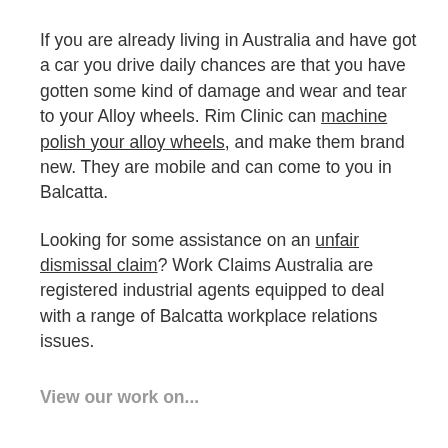If you are already living in Australia and have got a car you drive daily chances are that you have gotten some kind of damage and wear and tear to your Alloy wheels. Rim Clinic can machine polish your alloy wheels, and make them brand new. They are mobile and can come to you in Balcatta.
Looking for some assistance on an unfair dismissal claim? Work Claims Australia are registered industrial agents equipped to deal with a range of Balcatta workplace relations issues.
View our work on...